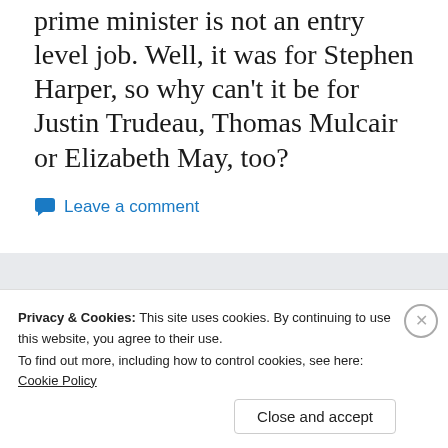prime minister is not an entry level job. Well, it was for Stephen Harper, so why can't it be for Justin Trudeau, Thomas Mulcair or Elizabeth May, too?
Leave a comment
Privacy & Cookies: This site uses cookies. By continuing to use this website, you agree to their use.
To find out more, including how to control cookies, see here: Cookie Policy
Close and accept